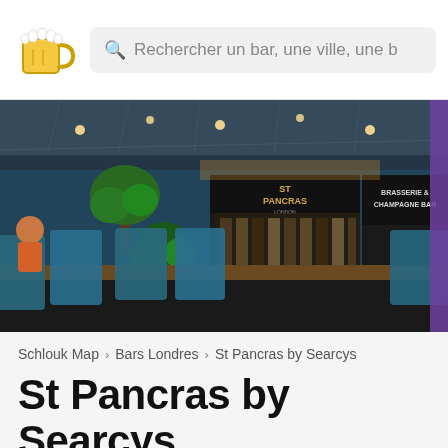Rechercher un bar, une ville, une b
[Figure (photo): Interior of St Pancras by Searcys bar, showing blue chairs along a wooden bar counter, trees, and illuminated bar shelves under a glass roof structure. Signs read ST PANCRAS and BRASSERIE & CHAMPAGNE BAR.]
Schlouk Map › Bars Londres › St Pancras by Searcys
St Pancras by Searcys
Aucun avis